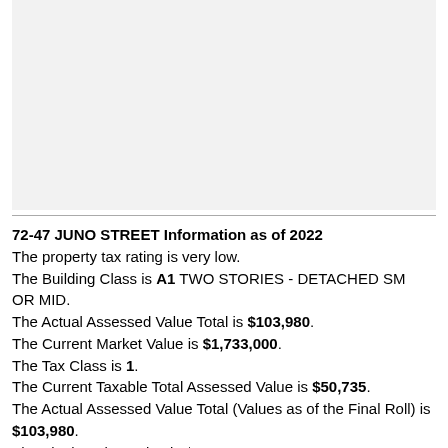[Figure (photo): Blank light gray image placeholder area at the top of the page]
72-47 JUNO STREET Information as of 2022
The property tax rating is very low.
The Building Class is A1 TWO STORIES - DETACHED SM OR MID.
The Actual Assessed Value Total is $103,980.
The Current Market Value is $1,733,000.
The Tax Class is 1.
The Current Taxable Total Assessed Value is $50,735.
The Actual Assessed Value Total (Values as of the Final Roll) is $103,980.
The Final Market Value is $1,733,000.